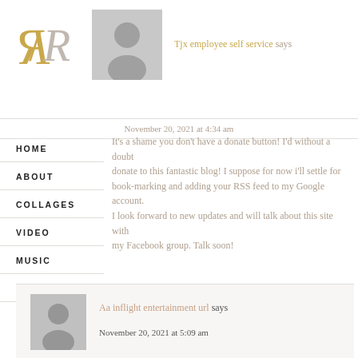[Figure (logo): Stylized R/R logo in gold and grey]
[Figure (illustration): Grey avatar placeholder silhouette]
Tjx employee self service says
November 20, 2021 at 4:34 am
HOME
It's a shame you don't have a donate button! I'd without a doubt
ABOUT
donate to this fantastic blog! I suppose for now i'll settle for
COLLAGES
book-marking and adding your RSS feed to my Google account.
VIDEO
I look forward to new updates and will talk about this site with
MUSIC
my Facebook group. Talk soon!
SHOP
CONTACT
[Figure (illustration): Grey avatar placeholder silhouette]
Aa inflight entertainment url says
November 20, 2021 at 5:09 am